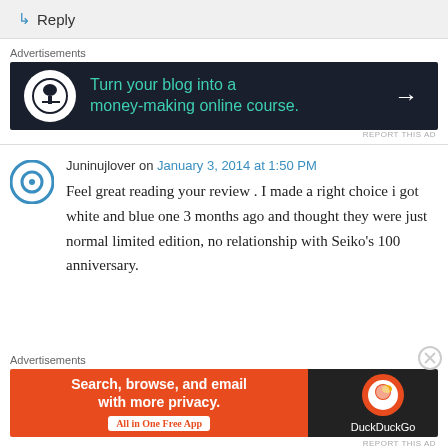↳ Reply
Advertisements
[Figure (infographic): Dark navy ad banner: white circle icon with a figure/tree, teal text 'Turn your blog into a money-making online course.' and white arrow on right]
REPORT THIS AD
Juninujlover on January 3, 2014 at 1:50 PM
Feel great reading your review . I made a right choice i got white and blue one 3 months ago and thought they were just normal limited edition, no relationship with Seiko's 100 anniversary.
Advertisements
[Figure (infographic): DuckDuckGo ad: orange left panel 'Search, browse, and email with more privacy. All in One Free App', dark right panel with DuckDuckGo logo]
REPORT THIS AD